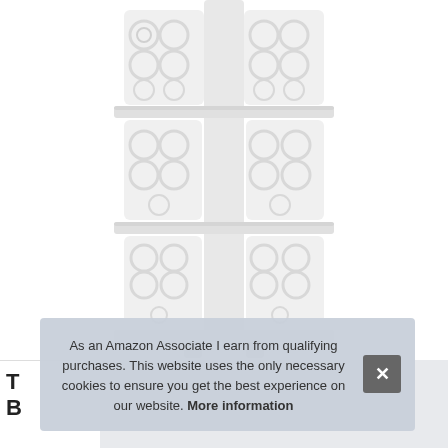[Figure (photo): White ornate decorative spiral bookshelf/display unit with filigree scroll patterns, multiple shelves, shown on white background. Only the lower portion of the shelf is visible.]
As an Amazon Associate I earn from qualifying purchases. This website uses the only necessary cookies to ensure you get the best experience on our website. More information